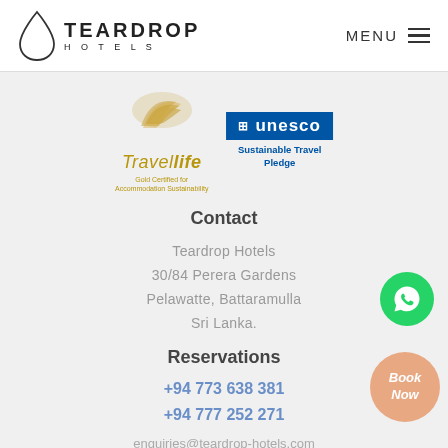[Figure (logo): Teardrop Hotels logo with teardrop SVG icon and text TEARDROP HOTELS]
MENU ≡
[Figure (logo): Travelife Gold Certified for Accommodation Sustainability logo and UNESCO Sustainable Travel Pledge logo]
Contact
Teardrop Hotels
30/84 Perera Gardens
Pelawatte, Battaramulla
Sri Lanka.
Reservations
+94 773 638 381
+94 777 252 271
enquiries@teardrop-hotels.com